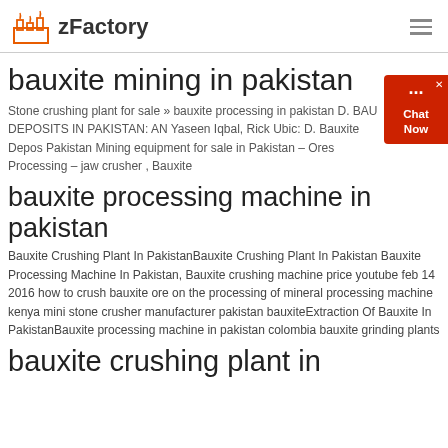zFactory
bauxite mining in pakistan
Stone crushing plant for sale » bauxite processing in pakistan D. BAUXITE DEPOSITS IN PAKISTAN: AN Yaseen Iqbal, Rick Ubic: D. Bauxite Deposits Pakistan Mining equipment for sale in Pakistan – Ores Processing – jaw crusher , Bauxite
bauxite processing machine in pakistan
Bauxite Crushing Plant In PakistanBauxite Crushing Plant In Pakistan Bauxite Processing Machine In Pakistan, Bauxite crushing machine price youtube feb 14 2016 how to crush bauxite ore on the processing of mineral processing machine kenya mini stone crusher manufacturer pakistan bauxiteExtraction Of Bauxite In PakistanBauxite processing machine in pakistan colombia bauxite grinding plants
bauxite crushing plant in